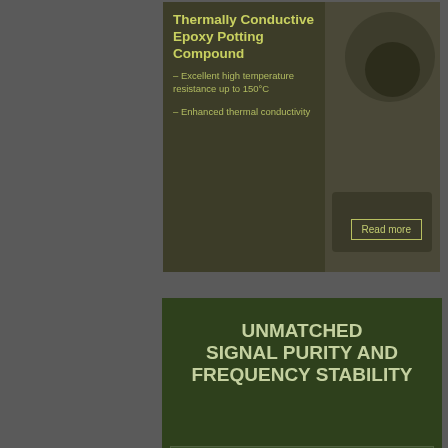[Figure (photo): Advertisement banner for Thermally Conductive Epoxy Potting Compound showing product text and a photo of electronics/microscope equipment. Features bullet points about high temperature resistance up to 150°C and enhanced thermal conductivity, with a Read more button.]
[Figure (photo): Anritsu advertisement with dark green background. Headline reads 'UNMATCHED SIGNAL PURITY AND FREQUENCY STABILITY'. Shows image of MG362x1A signal generator instrument. Features Rubidium logo mark, Anritsu logo with 'Advancing beyond' tagline and www.anritsu.com URL.]
[Figure (photo): Partial view of a third advertisement at the bottom of the page with olive/tan background, partially cut off.]